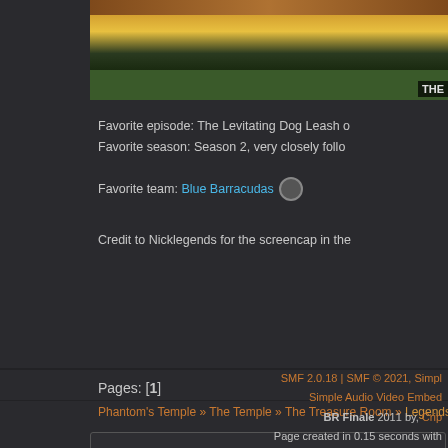[Figure (screenshot): Partial screenshot of a game/TV show themed image strip at top]
Favorite episode: The Levitating Dog Leash o
Favorite season: Season 2, very closely follo
Favorite team: Blue Barracudas
Credit to Nicklegends for the screencap in the
Pages: [1]
Phantom's Temple » The Temple » The Treasure Room » Legends: Rebirth-The Eag
SMF 2.0.18 | SMF © 2021, Simple
Simple Audio Video Embed
BR Finale 2011 by, Crip
Page created in 0.15 seconds with